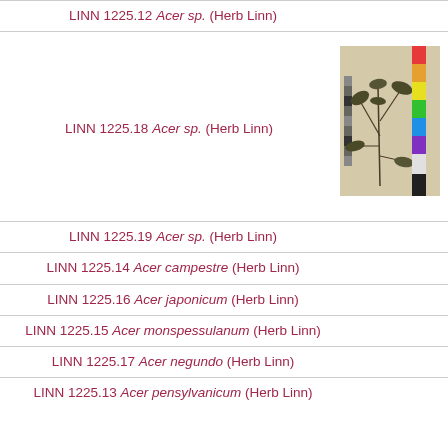LINN 1225.12 Acer sp. (Herb Linn)
LINN 1225.18 Acer sp. (Herb Linn)
[Figure (photo): Herbarium specimen photo showing pressed plant with leaves and stems, with color calibration strip on right side]
LINN 1225.19 Acer sp. (Herb Linn)
LINN 1225.14 Acer campestre (Herb Linn)
LINN 1225.16 Acer japonicum (Herb Linn)
LINN 1225.15 Acer monspessulanum (Herb Linn)
LINN 1225.17 Acer negundo (Herb Linn)
LINN 1225.13 Acer pensylvanicum (Herb Linn)